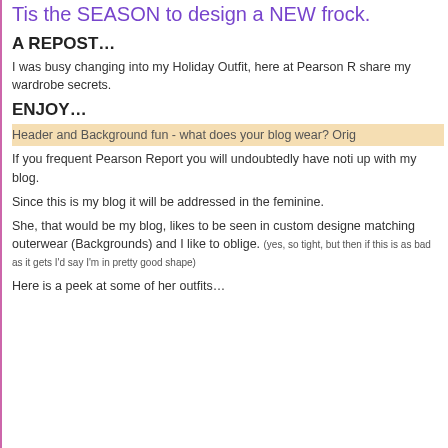Tis the SEASON to design a NEW frock.
A REPOST…
I was busy changing into my Holiday Outfit, here at Pearson R share my wardrobe secrets.
ENJOY…
Header and Background fun - what does your blog wear? Orig
If you frequent Pearson Report you will undoubtedly have noti up with my blog.
Since this is my blog it will be addressed in the feminine.
She, that would be my blog, likes to be seen in custom designe matching outerwear (Backgrounds) and I like to oblige. (yes, so tight, but then if this is as bad as it gets I'd say I'm in pretty good shape)
Here is a peek at some of her outfits…